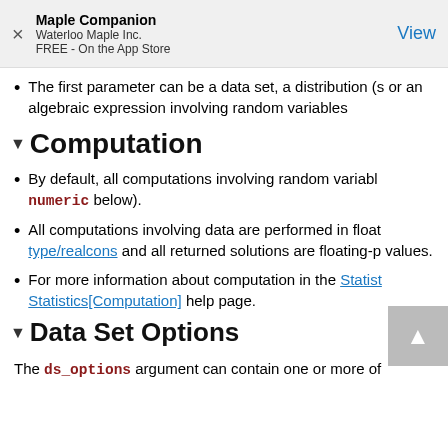Maple Companion
Waterloo Maple Inc.
FREE - On the App Store
View
The first parameter can be a data set, a distribution (s or an algebraic expression involving random variables
Computation
By default, all computations involving random variables numeric below).
All computations involving data are performed in float type/realcons and all returned solutions are floating-p values.
For more information about computation in the Statistics Statistics[Computation] help page.
Data Set Options
The ds_options argument can contain one or more of